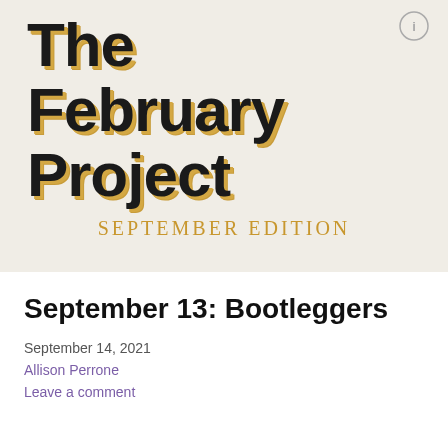[Figure (illustration): Blog header image with light beige background showing large bold black text 'The February Project' with gold shadow effect, subtitle 'SEPTEMBER EDITION' in gold/amber spaced capitals, and a small circle icon in top right corner.]
September 13: Bootleggers
September 14, 2021
Allison Perrone
Leave a comment